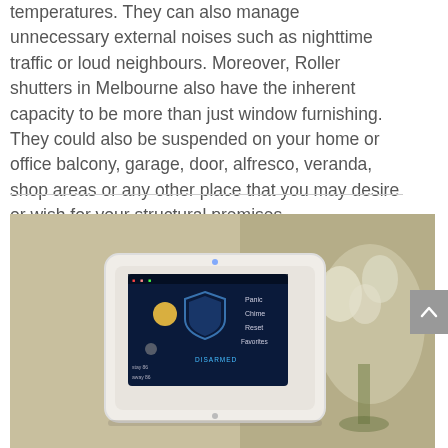temperatures. They can also manage unnecessary external noises such as nighttime traffic or loud neighbours. Moreover, Roller shutters in Melbourne also have the inherent capacity to be more than just window furnishing. They could also be suspended on your home or office balcony, garage, door, alfresco, veranda, shop areas or any other place that you may desire or wish for your structural premises.
[Figure (photo): A white smart home control panel with touchscreen displaying a security/home automation interface mounted on a beige wall, with blurred flowers in the background.]